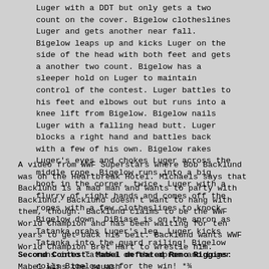Luger with a DDT but only gets a two count on the cover. Bigelow clotheslines Luger and gets another near fall. Bigelow leaps up and kicks Luger on the side of the head with both feet and gets a another two count. Bigelow has a sleeper hold on Luger to maintain control of the contest. Luger battles to his feet and elbows out but runs into a knee lift from Bigelow. Bigelow nails Luger with a falling head butt. Luger blocks a right hand and battles back with a few of his own. Bigelow rakes Luger's eyes and chokes Luger across the middle rope. Bigelow runs into a big boot in the corner, twice. Luger with a flurry of right hands and comes off the ropes with a few clotheslines to knock Bigelow down. DiBiase is on the apron as Tatanka grabs Luger's leg. Luger kicks Tatanka into the guard railing! Bigelow runs into Tatanka on the apron and Luger rolls Bigelow up for the win! *¾ After the match, Mabel and Adam Bomb celebrate the win with Lex Luger. Also, Bigelow and Tatanka have a brief argument on the floor.
A video from WWF Superstars where Bob Backlund was on the Heartbreak Hotel. Michaels says that Backlund is a mad man and wants to party with Backlund. Backlund doesn't want to hang with them, though. Backlund claims to be the WWF World Champion and has been waiting for ten years to get back his belt. Backlund wants WWF World Champion Bret Hart to wrestle him.
Second Contest: Mabel defeated Reno Riggins: Mabel wins the squash